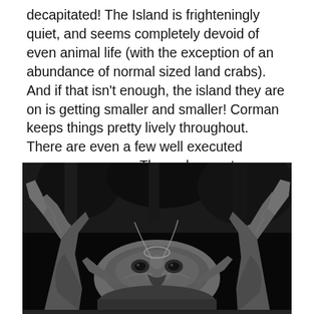decapitated! The Island is frighteningly quiet, and seems completely devoid of even animal life (with the exception of an abundance of normal sized land crabs). And if that isn't enough, the island they are on is getting smaller and smaller! Corman keeps things pretty lively throughout. There are even a few well executed suspense scenes. The crab monsters are their most active at night. The night settings add atmosphere to the proceedings and helped to camouflage the films lesser qualities.
[Figure (photo): Black and white still photograph of crab monster props/costumes from a film, showing large textured claw-like appendages and a central body piece with eye-like features, set against a dark background with tree-like elements.]